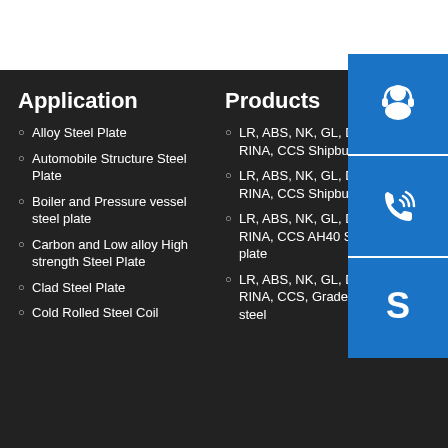Application
Alloy Steel Plate
Automobile Structure Steel Plate
Boiler and Pressure vessel steel plate
Carbon and Low alloy High strength Steel Plate
Clad Steel Plate
Cold Rolled Steel Coil
Products
LR, ABS, NK, GL, DNV, BV, KR, RINA, CCS Shipbuilding steel plate
LR, ABS, NK, GL, DNV, BV, KR, RINA, CCS Shipbuilding steel plate
LR, ABS, NK, GL, DNV, BV, KR, RINA, CCS AH40 Shipbuilding steel plate
LR, ABS, NK, GL, DNV, BV, KR, RINA, CCS, Grade D Shipbuilding steel
[Figure (infographic): Three blue contact icons: customer service headset, phone/call, Skype 'S' logo]